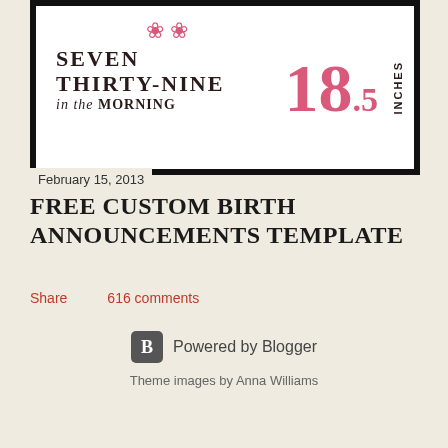[Figure (illustration): Birth announcement card image showing text 'SEVEN THIRTY-NINE in the MORNING' with large pink number '18.5' and 'INCHES' written vertically, with pink flower decorations, displayed in a thick black frame]
February 15, 2013
FREE CUSTOM BIRTH ANNOUNCEMENTS TEMPLATE
Share   616 comments
Powered by Blogger
Theme images by Anna Williams